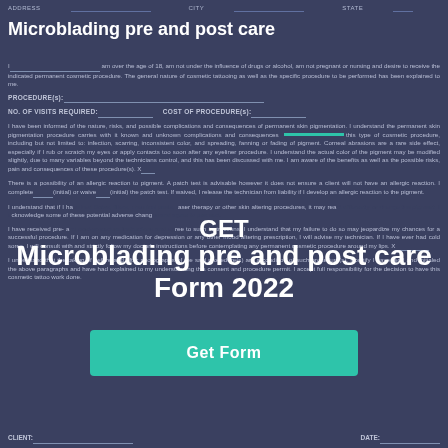ADDRESS  CITY  STATE  ZIP
Microblading pre and post care
I___________________ am over the age of 18, am not under the influence of drugs or alcohol, am not pregnant or nursing and desire to receive the indicated permanent cosmetic procedure. The general nature of cosmetic tattooing as well as the specific procedure to be performed has been explained to me.
PROCEDURE(s): ___________________
NO. OF VISITS REQUIRED: __________ COST OF PROCEDURE(s): __________
I have been informed of the nature, risks, and possible complications and consequences of permanent skin pigmentation. I understand the permanent skin pigmentation procedure carries with it known and unknown complications and consequences associated this type of cosmetic procedure, including but not limited to: infection, scarring, inconsistent color, and spreading, fanning or fading of pigment. Corneal abrasions are a rare side effect, especially if I rub or scratch my eyes or apply contacts too soon after any eyeliner procedure. I understand the actual color of the pigment may be modified slightly, due to many variables beyond the technicians control, and this has been discussed with me. I am aware of the benefits as well as the possible risks, pain and consequences of these procedure(s). X___
There is a possibility of an allergic reaction to pigment. A patch test is advisable however it does not ensure a client will not have an allergic reaction. I complete (initial) or waive ____ (initial) the patch test. If waived, I release the technician from liability if I develop an allergic reaction to the pigment.
I understand that if I have had Botox, fillers, chemical peels, laser therapy or other skin altering procedures, it may react differently or change the pigment. I acknowledge some of these potential adverse changes and agree to proceed.
I have received pre- and post-procedure instructions and agree to such instructions. I understand that my failure to do so may jeopardize my chances for a successful procedure. If I am on any medication for depression or any other mood altering prescription, I will advise my technician. If I have ever had cold sores, I will consult with and strictly follow my doctor's instructions before contemplating any permanent cosmetic procedure around my lips. X___________
I understand that the taking of before and after photographs of the said procedure(s) are a condition of such procedure(s). I certify I have read and initialed the above paragraphs and have had explained to my understanding this consent and procedure permit. I accept full responsibility for the decision to have this cosmetic tattoo work done.
CLIENT:  DATE:
GET
Microblading pre and post care Form 2022
Get Form